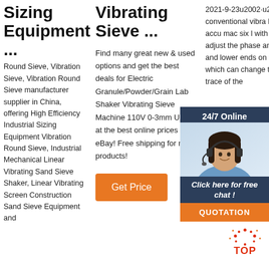Sizing Equipment ...
Round Sieve, Vibration Sieve, Vibration Round Sieve manufacturer supplier in China, offering High Efficiency Industrial Sizing Equipment Vibration Round Sieve, Industrial Mechanical Linear Vibrating Sand Sieve Shaker, Linear Vibrating Screen Construction Sand Sieve Equipment and
Vibrating Sieve ...
Find many great new & used options and get the best deals for Electric Granule/Powder/Grain Lab Shaker Vibrating Sieve Machine 110V 0-3mm USA at the best online prices at eBay! Free shipping for many products!
Get Price
2021-9-23u2002·u2002Compared to conventional vibrating screen, EVER-POWER machines are efficient and accurate. Each machine has six layer screen with springs. EVER-POWER machines can adjust the phase angle of the upper and lower ends on the motor, which can change the vibration trace of the
[Figure (photo): Customer service representative with headset, chat widget overlay with '24/7 Online', 'Click here for free chat!' and 'QUOTATION' button in orange]
[Figure (infographic): TOP badge in red text with decorative dots around it]